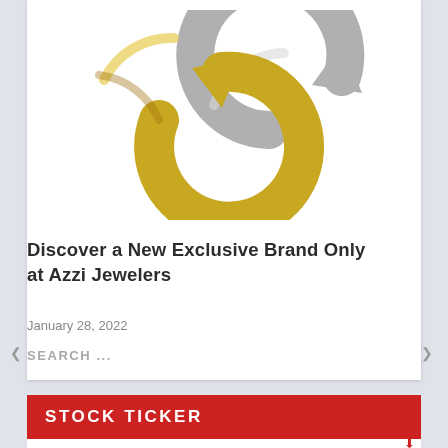[Figure (illustration): Gold and silver circular arrow icons overlapping, representing currency exchange or refresh symbols]
Discover a New Exclusive Brand Only at Azzi Jewelers
January 28, 2022
SEARCH ...
STOCK TICKER